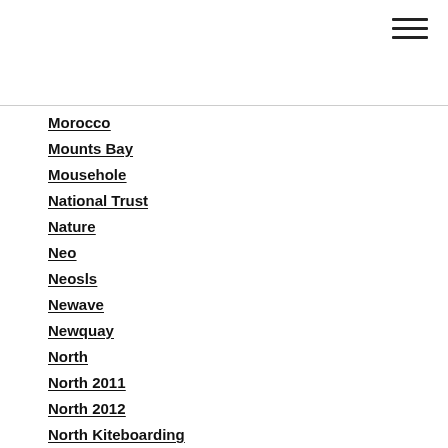Morocco
Mounts Bay
Mousehole
National Trust
Nature
Neo
Neosls
Newave
Newquay
North
North 2011
North 2012
North Kiteboarding
North Kites
North Neo 2011
North Race Ltd 2011